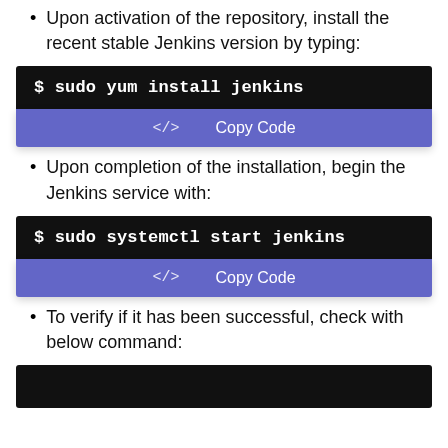Upon activation of the repository, install the recent stable Jenkins version by typing:
$ sudo yum install jenkins
</> Copy Code
Upon completion of the installation, begin the Jenkins service with:
$ sudo systemctl start jenkins
</> Copy Code
To verify if it has been successful, check with below command: